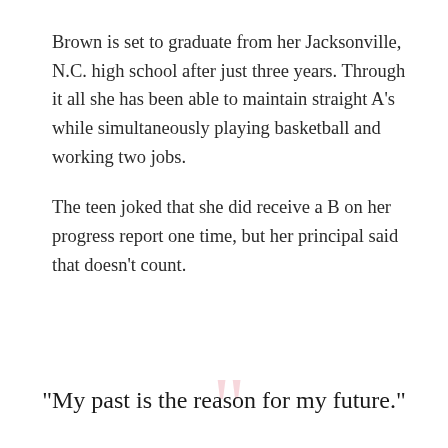Brown is set to graduate from her Jacksonville, N.C. high school after just three years. Through it all she has been able to maintain straight A’s while simultaneously playing basketball and working two jobs.
The teen joked that she did receive a B on her progress report one time, but her principal said that doesn’t count.
“My past is the reason for my future.”